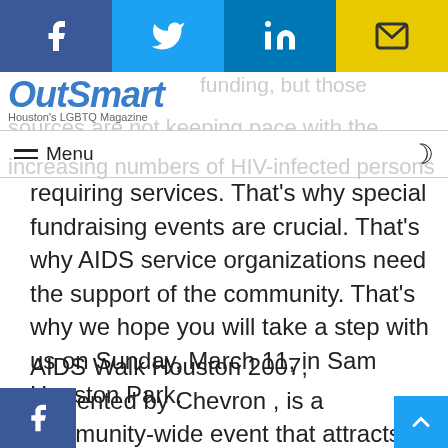OutSmart Houston's LGBTQ Magazine — social sharing bar (Facebook, Twitter, LinkedIn, Email)
sources are not keeping pace with the increasing numbers of HIV-infected persons requiring services. That's why special fundraising events are crucial. That's why AIDS service organizations need the support of the community. That's why we hope you will take a step with us on Sunday, March 11, in Sam Houston Park.
AIDS Walk Houston 2007, presented by Chevron , is a community-wide event that attracts thousands of Houstonians each year. The walk provides all of us with opportunities